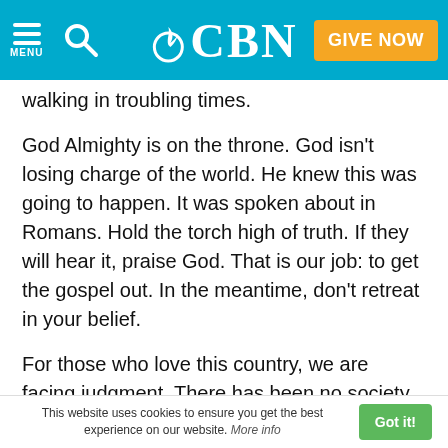CBN – MENU, search, GIVE NOW
walking in troubling times.
God Almighty is on the throne. God isn't losing charge of the world. He knew this was going to happen. It was spoken about in Romans. Hold the torch high of truth. If they will hear it, praise God. That is our job: to get the gospel out. In the meantime, don't retreat in your belief.
For those who love this country, we are facing judgment. There has been no society who has turned itself to widespread homosexuality that has survived. The Greeks were into it, but they didn't survive. Sooner or later God destroys them just like He did Sodom and Gomorrah.
This website uses cookies to ensure you get the best experience on our website. More info  Got it!